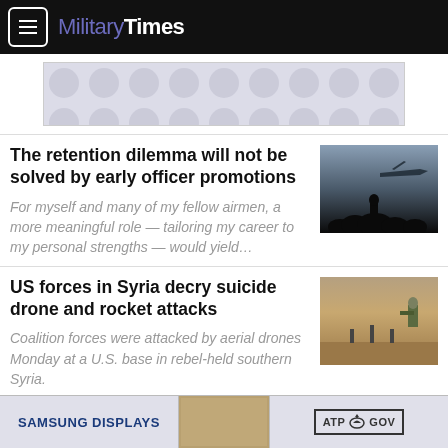MilitaryTimes
[Figure (other): Advertisement banner with circular dot pattern in light gray and white]
The retention dilemma will not be solved by early officer promotions
For myself and many of my fellow airmen, a more meaningful role — tailoring my career to my personal strengths — would yield…
[Figure (photo): Silhouettes of soldiers against a sky with military aircraft in background]
US forces in Syria decry suicide drone and rocket attacks
Coalition forces were attacked by aerial drones Monday at a U.S. base in rebel-held southern Syria.
[Figure (photo): Soldier in desert terrain, standing and aiming, with military shooting range targets]
[Figure (other): Bottom advertisement banner: Samsung Displays and ATP.GOV logos]